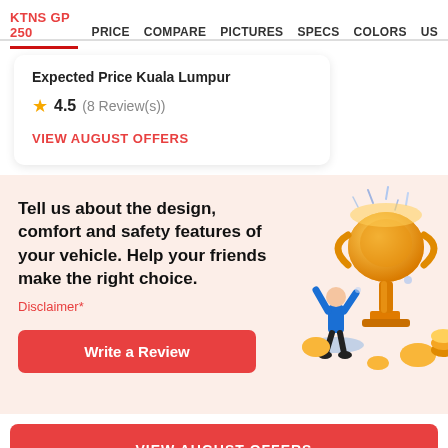KTNS GP 250  PRICE  COMPARE  PICTURES  SPECS  COLORS  US
Expected Price Kuala Lumpur
★ 4.5 (8 Review(s))
VIEW AUGUST OFFERS
Tell us about the design, comfort and safety features of your vehicle. Help your friends make the right choice.
Disclaimer*
[Figure (illustration): Isometric illustration of a person celebrating next to a large golden trophy cup, with gold coins scattered around. Blue and orange color scheme.]
Write a Review
VIEW AUGUST OFFERS